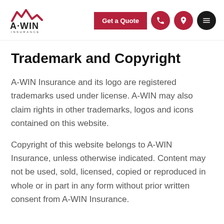[Figure (logo): A-WIN Insurance logo with mountain/wave graphic above text A-WIN INSURANCE]
Trademark and Copyright
A-WIN Insurance and its logo are registered trademarks used under license. A-WIN may also claim rights in other trademarks, logos and icons contained on this website.
Copyright of this website belongs to A-WIN Insurance, unless otherwise indicated. Content may not be used, sold, licensed, copied or reproduced in whole or in part in any form without prior written consent from A-WIN Insurance.